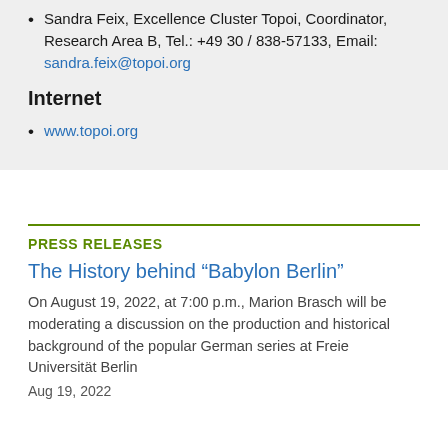Sandra Feix, Excellence Cluster Topoi, Coordinator, Research Area B, Tel.: +49 30 / 838-57133, Email: sandra.feix@topoi.org
Internet
www.topoi.org
PRESS RELEASES
The History behind “Babylon Berlin”
On August 19, 2022, at 7:00 p.m., Marion Brasch will be moderating a discussion on the production and historical background of the popular German series at Freie Universität Berlin
Aug 19, 2022